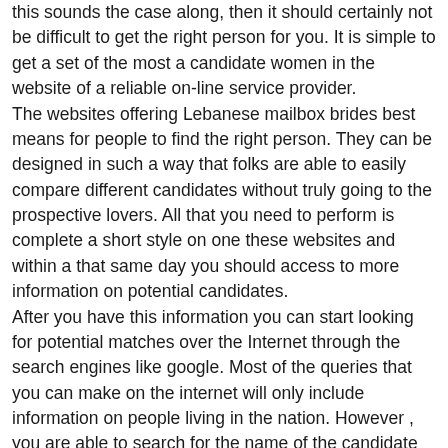this sounds the case along, then it should certainly not be difficult to get the right person for you. It is simple to get a set of the most a candidate women in the website of a reliable on-line service provider. The websites offering Lebanese mailbox brides best means for people to find the right person. They can be designed in such a way that folks are able to easily compare different candidates without truly going to the prospective lovers. All that you need to perform is complete a short style on one these websites and within a that same day you should access to more information on potential candidates. After you have this information you can start looking for potential matches over the Internet through the search engines like google. Most of the queries that you can make on the internet will only include information on people living in the nation. However , you are able to search for the name of the candidate through other websites. The most crucial thing that you should do before heading